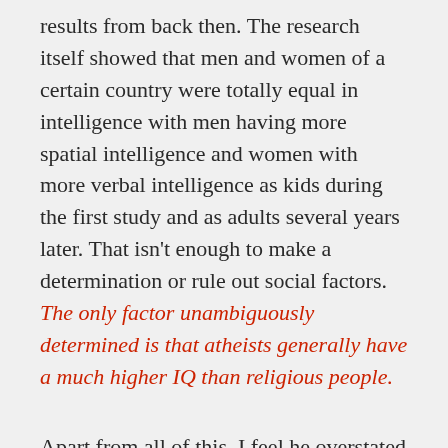results from back then. The research itself showed that men and women of a certain country were totally equal in intelligence with men having more spatial intelligence and women with more verbal intelligence as kids during the first study and as adults several years later. That isn't enough to make a determination or rule out social factors. The only factor unambiguously determined is that atheists generally have a much higher IQ than religious people.
Apart from all of this, I feel he overstated his case. The G-Factor is but one of many competing factors in determining a person's success and he repeatedly admits that focusing on proper health, nutrition, and personal motivation completely trump genetics. Moreover, social background such as our economic status and the education of our community play an